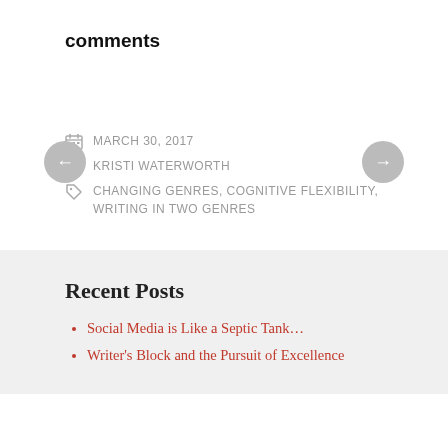comments
MARCH 30, 2017
KRISTI WATERWORTH
CHANGING GENRES, COGNITIVE FLEXIBILITY, WRITING IN TWO GENRES
Recent Posts
Social Media is Like a Septic Tank…
Writer's Block and the Pursuit of Excellence